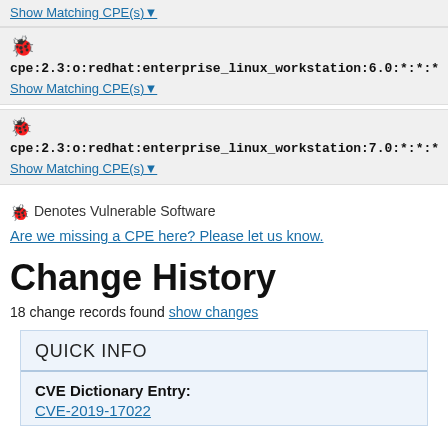Show Matching CPE(s)▼
cpe:2.3:o:redhat:enterprise_linux_workstation:6.0:*:*:*:*:*:*:
Show Matching CPE(s)▼
cpe:2.3:o:redhat:enterprise_linux_workstation:7.0:*:*:*:*:*:*:
Show Matching CPE(s)▼
🐛 Denotes Vulnerable Software
Are we missing a CPE here? Please let us know.
Change History
18 change records found show changes
QUICK INFO
CVE Dictionary Entry:
CVE-2019-17022